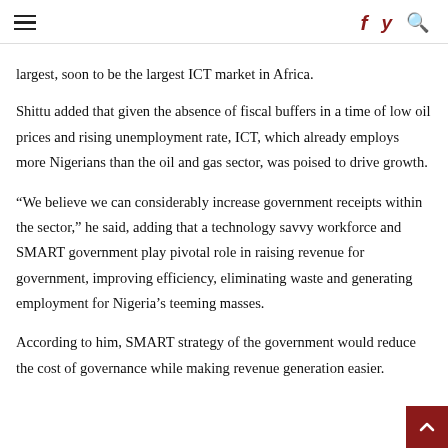≡   f  y  🔍
largest, soon to be the largest ICT market in Africa.
Shittu added that given the absence of fiscal buffers in a time of low oil prices and rising unemployment rate, ICT, which already employs more Nigerians than the oil and gas sector, was poised to drive growth.
“We believe we can considerably increase government receipts within the sector,” he said, adding that a technology savvy workforce and SMART government play pivotal role in raising revenue for government, improving efficiency, eliminating waste and generating employment for Nigeria’s teeming masses.
According to him, SMART strategy of the government would reduce the cost of governance while making revenue generation easier.